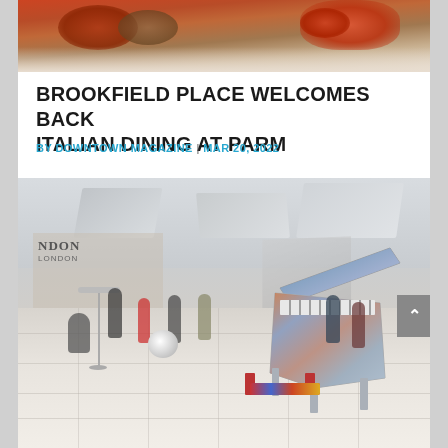[Figure (photo): Close-up photo of Italian food (pasta/meatballs) in a takeout container with red packaging, partially cropped at top of page]
BROOKFIELD PLACE WELCOMES BACK ITALIAN DINING AT PARM
BY DOWNTOWN MAGAZINE | MAR 20, 2022
[Figure (photo): Interior of Brookfield Place mall with people walking around, a decorated grand piano (painted with colorful abstract art, silver/chrome body) in the foreground, and mall storefronts including a London shop in the background. People are wearing masks.]